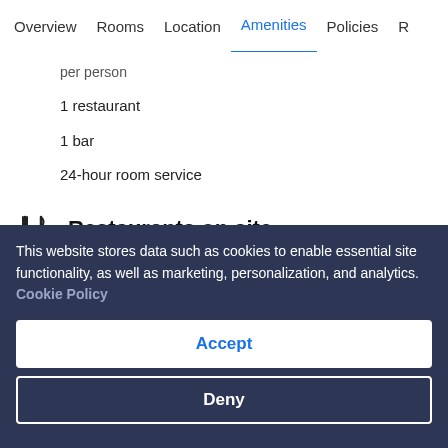Overview  Rooms  Location  Amenities  Policies  R
per person
1 restaurant
1 bar
24-hour room service
Restaurants on site
The Restaurant
Things to do
Fitness centre
This website stores data such as cookies to enable essential site functionality, as well as marketing, personalization, and analytics. Cookie Policy
Accept
Deny